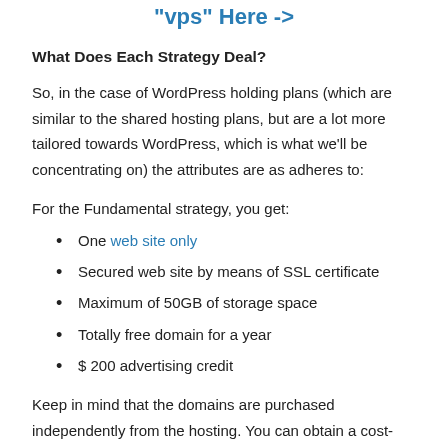"vps" Here ->
What Does Each Strategy Deal?
So, in the case of WordPress holding plans (which are similar to the shared hosting plans, but are a lot more tailored towards WordPress, which is what we'll be concentrating on) the attributes are as adheres to:
For the Fundamental strategy, you get:
One web site only
Secured web site by means of SSL certificate
Maximum of 50GB of storage space
Totally free domain for a year
$ 200 advertising credit
Keep in mind that the domains are purchased independently from the hosting. You can obtain a cost-free domain with Bluehost...